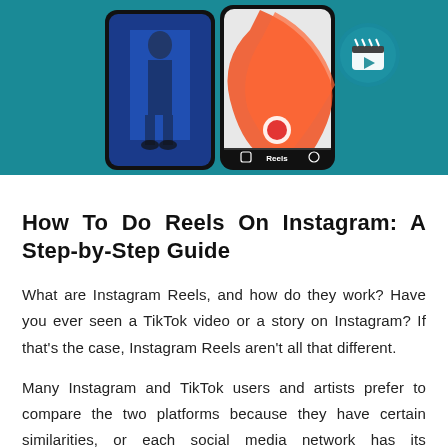[Figure (photo): Instagram Reels promotional image showing two smartphones with short video content on a teal/blue-green background. The left phone shows a person in a blue outfit, the right phone shows abstract orange/red shapes with a record button. A Reels icon (clapperboard) is visible in the upper right corner. The bottom phone shows the Reels navigation bar.]
How To Do Reels On Instagram: A Step-by-Step Guide
What are Instagram Reels, and how do they work? Have you ever seen a TikTok video or a story on Instagram? If that's the case, Instagram Reels aren't all that different.
Many Instagram and TikTok users and artists prefer to compare the two platforms because they have certain similarities, or each social media network has its advantages and disadvantages.